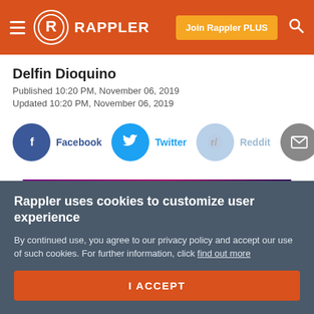RAPPLER — Join Rappler PLUS
Delfin Dioquino
Published 10:20 PM, November 06, 2019
Updated 10:20 PM, November 06, 2019
[Figure (infographic): Social share buttons: Facebook, Twitter, Reddit, Email icons with labels]
[Figure (infographic): Advertisement banner with purple/dark gradient background and close button marked X]
Rappler uses cookies to customize user experience

By continued use, you agree to our privacy policy and accept our use of such cookies. For further information, click find out more

I ACCEPT